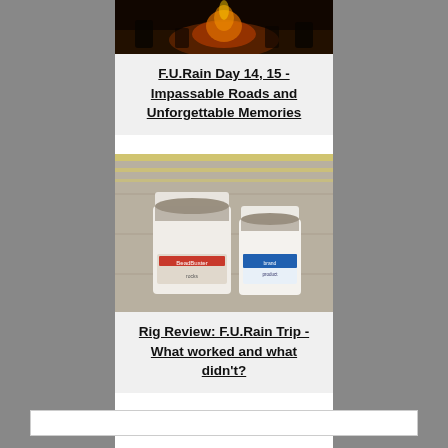[Figure (photo): Campfire scene at night with people gathered around flames, dark background]
F.U.Rain Day 14, 15 - Impassable Roads and Unforgettable Memories
[Figure (photo): Two white buckets filled with gravel/rocks sitting on pavement, one labeled BeadBuster, the other a blue-labeled bucket]
Rig Review: F.U.Rain Trip - What worked and what didn't?